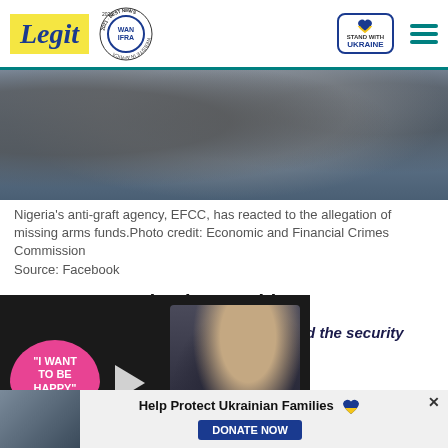Legit | WAN IFRA 2021 Best News Website in Africa | Stand with Ukraine
[Figure (photo): People in suits and military uniform, one wearing a blue face mask, photographed at an official event]
Nigeria's anti-graft agency, EFCC, has reacted to the allegation of missing arms funds.Photo credit: Economic and Financial Crimes Commission
Source: Facebook
He was quoted to have said:
“It is not that we are not working to end the security [challenges]... the president has done his own [part]... amounts of money to purchase [weapons that are supposed] to be here. We don’t know
[Figure (screenshot): Video overlay showing pink blob with text 'I WANT TO BE HAPPY' and two people]
[Figure (photo): Advertisement photo of Ukrainian families]
Help Protect Ukrainian Families
DONATE NOW